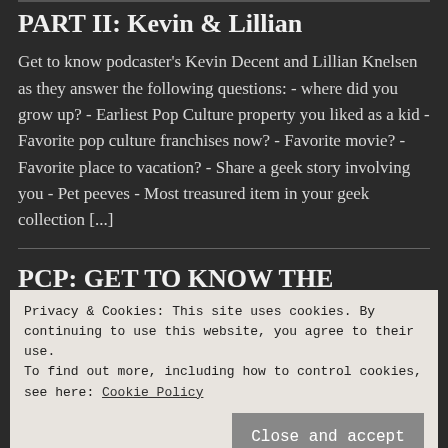PART II: Kevin & Lillian
Get to know podcaster's Kevin Decent and Lillian Knelsen as they answer the following questions: - where did you grow up? - Earliest Pop Culture property you liked as a kid - Favorite pop culture franchises now? - Favorite movie? - Favorite place to vacation? - Share a geek story involving you - Pet peeves - Most treasured item in your geek collection [...]
PCP: GET TO KNOW THE PODCASTERS:
Privacy & Cookies: This site uses cookies. By continuing to use this website, you agree to their use.
To find out more, including how to control cookies, see here: Cookie Policy
kid - Favorite pop culture franchises now? -